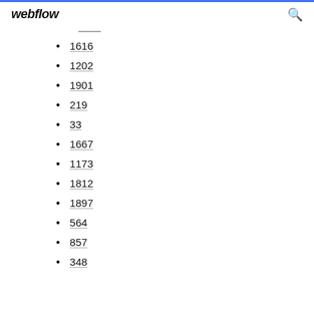webflow
1616
1202
1901
219
33
1667
1173
1812
1897
564
857
348